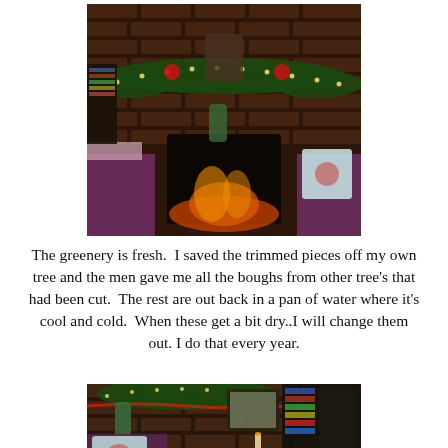[Figure (photo): Indoor fireplace decorated for Christmas with fresh greenery, lights, and holiday ornaments on mantel. Brick wall background. Armchairs with decorative pillows visible on each side.]
The greenery is fresh.  I saved the trimmed pieces off my own tree and the men gave me all the boughs from other tree's that had been cut.  The rest are out back in a pan of water where it's cool and cold.  When these get a bit dry..I will change them out. I do that every year.
[Figure (photo): Another view of the same Christmas-decorated fireplace and living room, showing brick fireplace with greenery, string lights, stockings, bookshelves, and decorative pillows on chairs.]